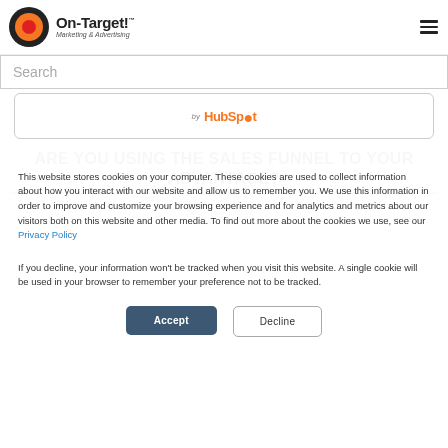[Figure (logo): On-Target! Marketing & Advertising logo with target/bullseye icon in black, orange, and red circles, and text 'On-Target!™ Marketing & Advertising']
Search
[Figure (logo): HubSpot logo with 'by HubSpot' text]
ARE YOU USING THE SALES FUNNEL TO YOUR ADVANTAGE?
This website stores cookies on your computer. These cookies are used to collect information about how you interact with our website and allow us to remember you. We use this information in order to improve and customize your browsing experience and for analytics and metrics about our visitors both on this website and other media. To find out more about the cookies we use, see our Privacy Policy
If you decline, your information won't be tracked when you visit this website. A single cookie will be used in your browser to remember your preference not to be tracked.
Accept
Decline